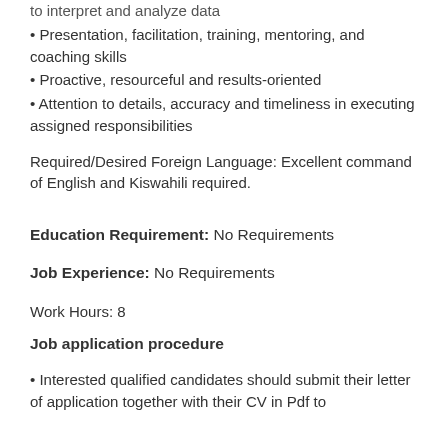• to interpret and analyze data
• Presentation, facilitation, training, mentoring, and coaching skills
• Proactive, resourceful and results-oriented
• Attention to details, accuracy and timeliness in executing assigned responsibilities
Required/Desired Foreign Language: Excellent command of English and Kiswahili required.
Education Requirement: No Requirements
Job Experience: No Requirements
Work Hours: 8
Job application procedure
• Interested qualified candidates should submit their letter of application together with their CV in Pdf to